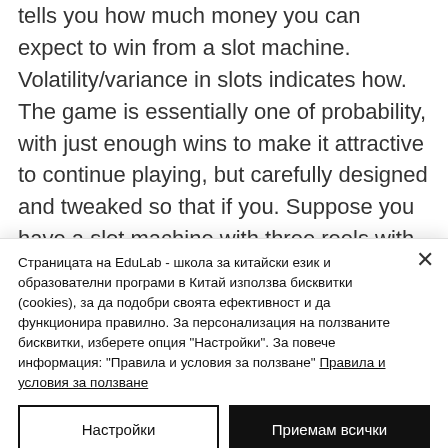tells you how much money you can expect to win from a slot machine. Volatility/variance in slots indicates how. The game is essentially one of probability, with just enough wins to make it attractive to continue playing, but carefully designed and tweaked so that if you. Suppose you have a slot machine with three reels with ten symbols on each, and it only pays out when three cherries hit. The odds of winning. The odds of hitting the top award vary greatly by machine, and may be
Страницата на EduLab - школа за китайски език и образователни програми в Китай използва бисквитки (cookies), за да подобри своята ефективност и да функционира правилно. За персонализация на ползваните бисквитки, изберете опция "Настройки". За повече информация: "Правила и условия за ползване" Правила и условия за ползване
Настройки
Приемам всички